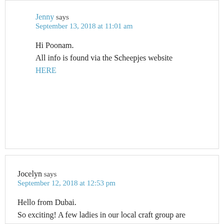Jenny says
September 13, 2018 at 11:01 am
Hi Poonam.
All info is found via the Scheepjes website HERE
Jocelyn says
September 12, 2018 at 12:53 pm
Hello from Dubai.
So exciting! A few ladies in our local craft group are crocheting along. I'm still a novice so I will watch from the sidelines and decide later if I can